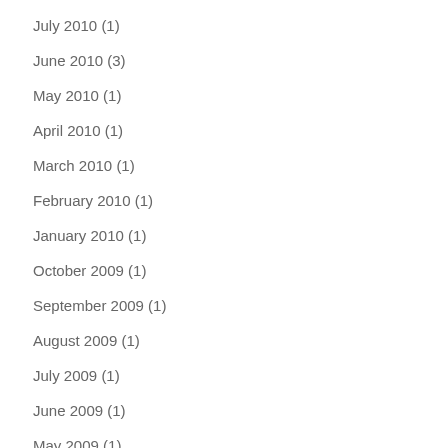July 2010 (1)
June 2010 (3)
May 2010 (1)
April 2010 (1)
March 2010 (1)
February 2010 (1)
January 2010 (1)
October 2009 (1)
September 2009 (1)
August 2009 (1)
July 2009 (1)
June 2009 (1)
May 2009 (1)